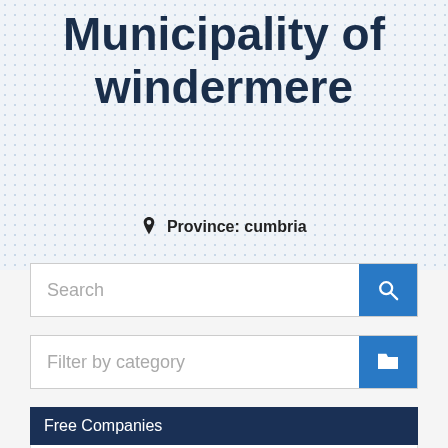Municipality of windermere
Province: cumbria
Search
Filter by category
Free Companies
2 Eggcups Restaurant
Take Away » Take Away